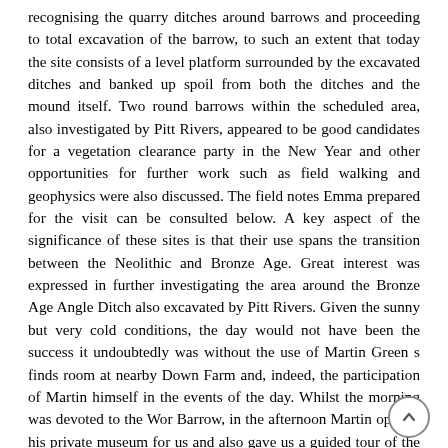recognising the quarry ditches around barrows and proceeding to total excavation of the barrow, to such an extent that today the site consists of a level platform surrounded by the excavated ditches and banked up spoil from both the ditches and the mound itself. Two round barrows within the scheduled area, also investigated by Pitt Rivers, appeared to be good candidates for a vegetation clearance party in the New Year and other opportunities for further work such as field walking and geophysics were also discussed. The field notes Emma prepared for the visit can be consulted below. A key aspect of the significance of these sites is that their use spans the transition between the Neolithic and Bronze Age. Great interest was expressed in further investigating the area around the Bronze Age Angle Ditch also excavated by Pitt Rivers. Given the sunny but very cold conditions, the day would not have been the success it undoubtedly was without the use of Martin Green s finds room at nearby Down Farm and, indeed, the participation of Martin himself in the events of the day. Whilst the morning was devoted to the Wor Barrow, in the afternoon Martin opened his private museum for us and also gave us a guided tour of the excavations he and organisations such